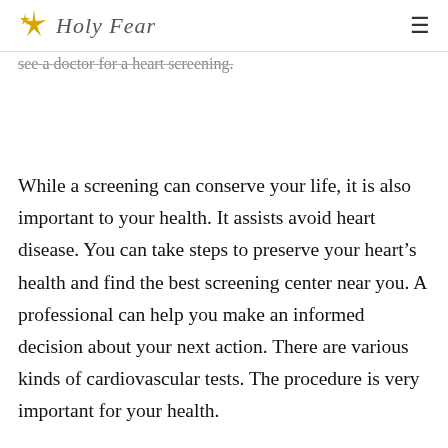Holy Fear
see a doctor for a heart screening.
While a screening can conserve your life, it is also important to your health. It assists avoid heart disease. You can take steps to preserve your heart's health and find the best screening center near you. A professional can help you make an informed decision about your next action. There are various kinds of cardiovascular tests. The procedure is very important for your health.